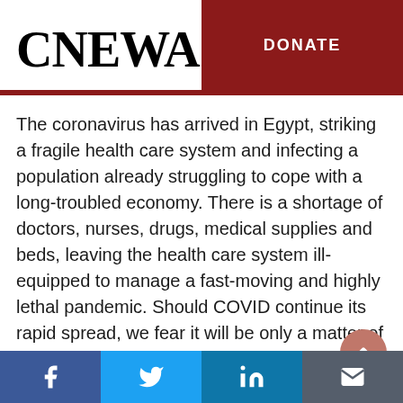CNEWA
DONATE
The coronavirus has arrived in Egypt, striking a fragile health care system and infecting a population already struggling to cope with a long-troubled economy. There is a shortage of doctors, nurses, drugs, medical supplies and beds, leaving the health care system ill-equipped to manage a fast-moving and highly lethal pandemic. Should COVID continue its rapid spread, we fear it will be only a matter of time before the health crisis becomes a political one as well.
Social share bar: Facebook, Twitter, LinkedIn, Email